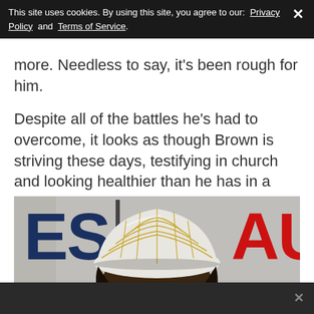This site uses cookies. By using this site, you agree to our: Privacy Policy and Terms of Service.
more. Needless to say, it's been rough for him.
Despite all of the battles he's had to overcome, it looks as though Brown is striving these days, testifying in church and looking healthier than he has in a very long time.
[Figure (photo): Photo of a person wearing a white and gold quilted/patterned cap/hat, visible from forehead up, against a backdrop with partial text 'ES' in dark blue on the left and 'AU' in red on the upper right.]